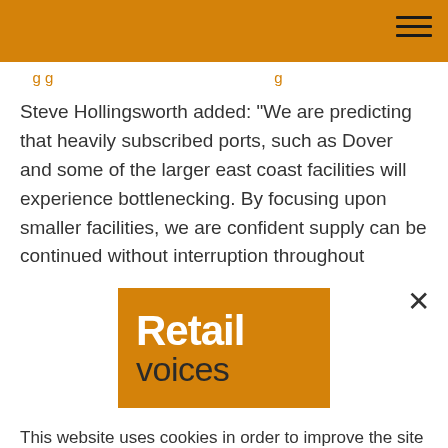Steve Hollingsworth added: “We are predicting that heavily subscribed ports, such as Dover and some of the larger east coast facilities will experience bottlenecking. By focusing upon smaller facilities, we are confident supply can be continued without interruption throughout
[Figure (logo): Retail voices logo — orange background with white bold 'Retail' and dark 'voices' text]
This website uses cookies in order to improve the site and user experience. By continuing to use it, you agree to our Privacy Policy.
I understand